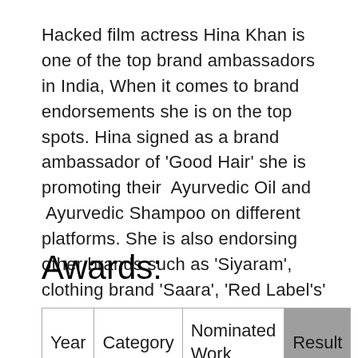Hacked film actress Hina Khan is one of the top brand ambassadors in India, When it comes to brand endorsements she is on the top spots. Hina signed as a brand ambassador of 'Good Hair' she is promoting their  Ayurvedic Oil and  Ayurvedic Shampoo on different platforms. She is also endorsing other brands such as 'Siyaram', clothing brand 'Saara', 'Red Label's' and several others.
Awards:
| Year | Category | Nominated Work | Result |
| --- | --- | --- | --- |